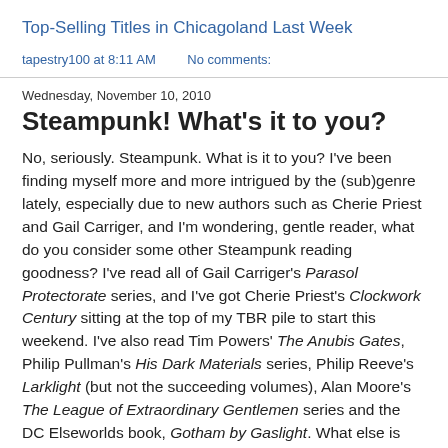Top-Selling Titles in Chicagoland Last Week
tapestry100 at 8:11 AM    No comments:
Wednesday, November 10, 2010
Steampunk! What's it to you?
No, seriously. Steampunk. What is it to you? I've been finding myself more and more intrigued by the (sub)genre lately, especially due to new authors such as Cherie Priest and Gail Carriger, and I'm wondering, gentle reader, what do you consider some other Steampunk reading goodness? I've read all of Gail Carriger's Parasol Protectorate series, and I've got Cherie Priest's Clockwork Century sitting at the top of my TBR pile to start this weekend. I've also read Tim Powers' The Anubis Gates, Philip Pullman's His Dark Materials series, Philip Reeve's Larklight (but not the succeeding volumes), Alan Moore's The League of Extraordinary Gentlemen series and the DC Elseworlds book, Gotham by Gaslight. What else is there? I'm trying to